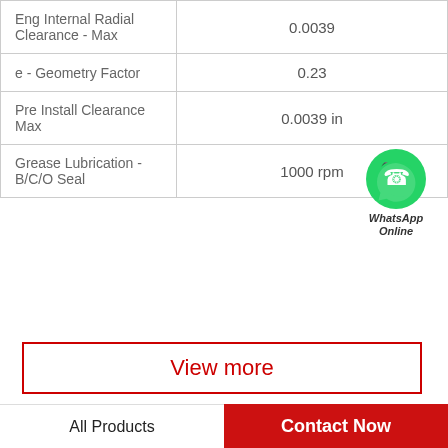| Property | Value |
| --- | --- |
| Eng Internal Radial Clearance - Max | 0.0039 |
| e - Geometry Factor | 0.23 |
| Pre Install Clearance Max | 0.0039 in |
| Grease Lubrication - B/C/O Seal | 1000 rpm |
[Figure (logo): WhatsApp Online green circle phone icon with text 'WhatsApp Online']
View more
Company Profile
China Kubota Hydraulic Final Drive Motor Supplier
All Products | Contact Now